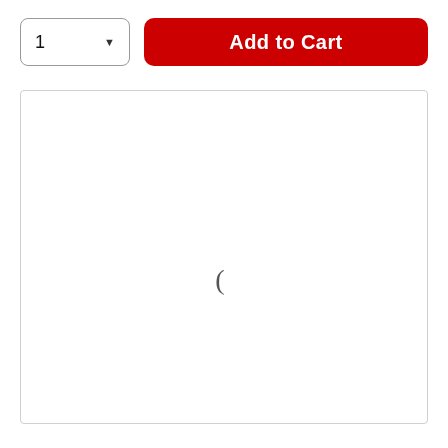[Figure (screenshot): E-commerce product page UI showing a quantity selector with value '1' and a dropdown arrow, followed by a red 'Add to Cart' button, and below a large white preview/document area containing a single parenthesis character '(' near the center.]